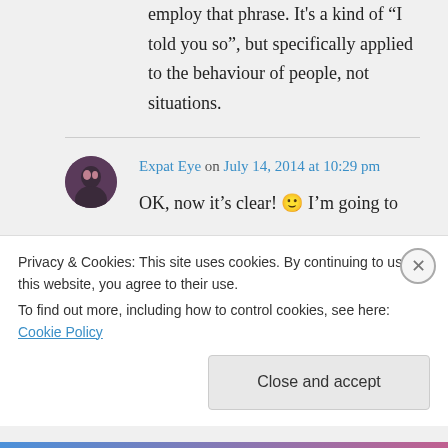employ that phrase. It's a kind of “I told you so”, but specifically applied to the behaviour of people, not situations.
Expat Eye on July 14, 2014 at 10:29 pm
OK, now it's clear! 🙂 I’m going to
Privacy & Cookies: This site uses cookies. By continuing to use this website, you agree to their use.
To find out more, including how to control cookies, see here: Cookie Policy